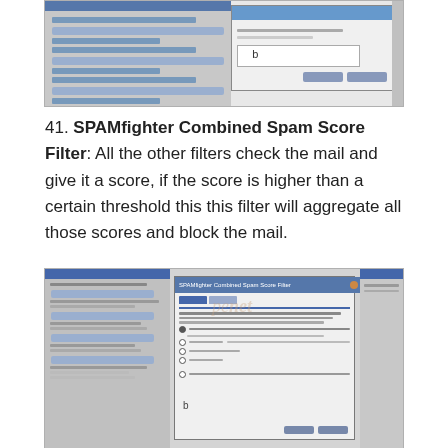[Figure (screenshot): Screenshot of a software configuration dialog window, partially visible, showing a modal dialog box with a blue header bar, input field, and two buttons at the bottom right. Left panel shows navigation items.]
41. SPAMfighter Combined Spam Score Filter: All the other filters check the mail and give it a score, if the score is higher than a certain threshold this this filter will aggregate all those scores and block the mail.
[Figure (screenshot): Screenshot of SPAMfighter Combined Spam Score Filter configuration dialog, showing a blue title bar with 'SPAMfighter Combined Spam Score Filter', tabs at top, radio button options including 'Enabled - Combined Spam Score Filter is enabled, and no spam will be blocked', 'Low', 'Medium', 'High', and a custom threshold option. Left navigation panel and right panel also visible.]